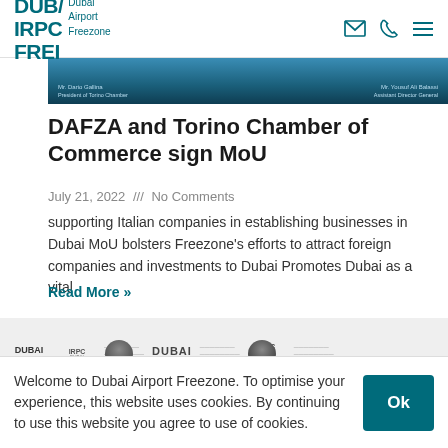DUBA IRPC FREI Dubai Airport Freezone
[Figure (photo): Banner photo showing two people at a signing ceremony with name cards visible: Mr. Dario Gallina, President of Torino Chamber, and Mr. Yousuf Ali Balassi, Assistant Director General]
DAFZA and Torino Chamber of Commerce sign MoU
July 21, 2022 /// No Comments
supporting Italian companies in establishing businesses in Dubai MoU bolsters Freezone's efforts to attract foreign companies and investments to Dubai Promotes Dubai as a vital
Read More »
[Figure (photo): Banner image showing Dubai Airport Freezone logos and branding with people in the background]
Welcome to Dubai Airport Freezone. To optimise your experience, this website uses cookies. By continuing to use this website you agree to use of cookies.